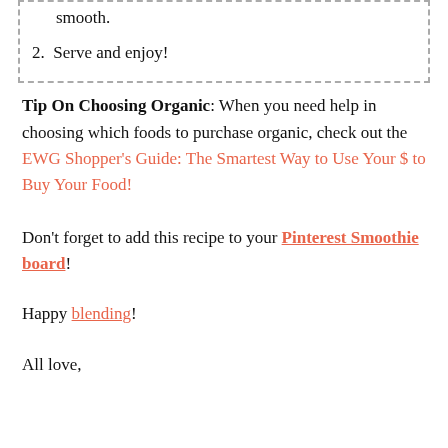smooth.
2. Serve and enjoy!
Tip On Choosing Organic: When you need help in choosing which foods to purchase organic, check out the EWG Shopper's Guide: The Smartest Way to Use Your $ to Buy Your Food!
Don't forget to add this recipe to your Pinterest Smoothie board!
Happy blending!
All love,